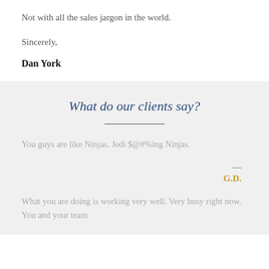Not with all the sales jargon in the world.
Sincerely,
Dan York
What do our clients say?
You guys are like Ninjas. Jedi $@#%ing Ninjas.
— G.D.
What you are doing is working very well. Very busy right now. You and your team should be...